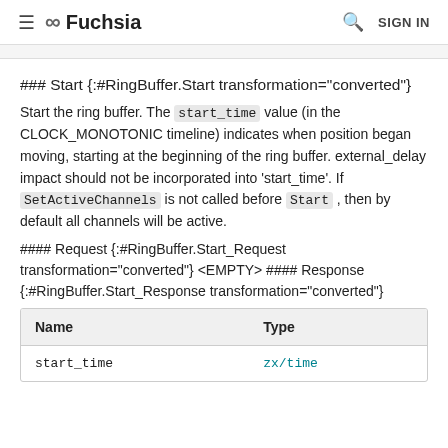≡ ∞ Fuchsia  🔍 SIGN IN
### Start {:#RingBuffer.Start transformation="converted"}
Start the ring buffer. The start_time value (in the CLOCK_MONOTONIC timeline) indicates when position began moving, starting at the beginning of the ring buffer. external_delay impact should not be incorporated into 'start_time'. If SetActiveChannels is not called before Start , then by default all channels will be active.
#### Request {:#RingBuffer.Start_Request transformation="converted"} <EMPTY> #### Response {:#RingBuffer.Start_Response transformation="converted"}
| Name | Type |
| --- | --- |
| start_time | zx/time |